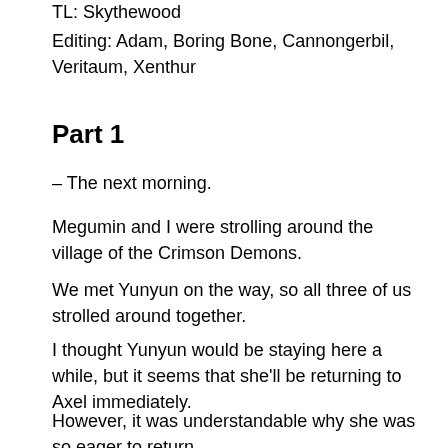TL: Skythewood
Editing: Adam, Boring Bone, Cannongerbil, Veritaum, Xenthur
Part 1
– The next morning.
Megumin and I were strolling around the village of the Crimson Demons.
We met Yunyun on the way, so all three of us strolled around together.
I thought Yunyun would be staying here a while, but it seems that she'll be returning to Axel immediately.
However, it was understandable why she was so eager to return.